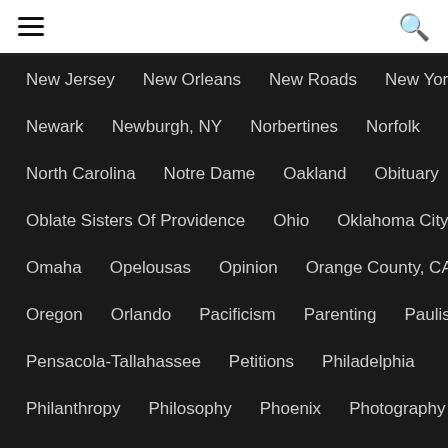hamburger menu | search icon
New Jersey    New Orleans    New Roads    New York
Newark    Newburgh, NY    Norbertines    Norfolk
North Carolina    Notre Dame    Oakland    Obituary
Oblate Sisters Of Providence    Ohio    Oklahoma City
Omaha    Opelousas    Opinion    Orange County, CA
Oregon    Orlando    Pacificism    Parenting    Paulists
Pensacola-Tallahassee    Petitions    Philadelphia
Philanthropy    Philosophy    Phoenix    Photography
Pierre Toussaint    Pilgrimage    Pittsburgh    Podcasts
Poetry    Policing    Political Theology
Pope Benedict XVI    Pope Francis    [Subscribe overlay]
Poverty    Prayer    Priestly Potshots    Princeton